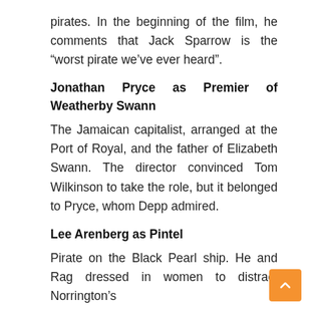pirates. In the beginning of the film, he comments that Jack Sparrow is the “worst pirate we’ve ever heard”.
Jonathan Pryce as Premier of Weatherby Swann
The Jamaican capitalist, arranged at the Port of Royal, and the father of Elizabeth Swann. The director convinced Tom Wilkinson to take the role, but it belonged to Pryce, whom Depp admired.
Lee Arenberg as Pintel
Pirate on the Black Pearl ship. He and Rag dressed in women to distract Norrington’s